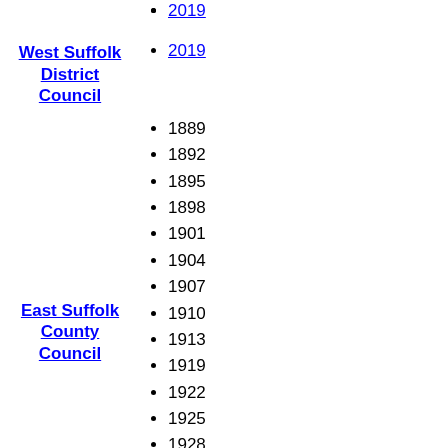2019
West Suffolk District Council
2019
1889
1892
1895
1898
1901
1904
1907
1910
1913
1919
1922
1925
East Suffolk County Council
1928
1931
1934
1937
1946
1949
1952
1955